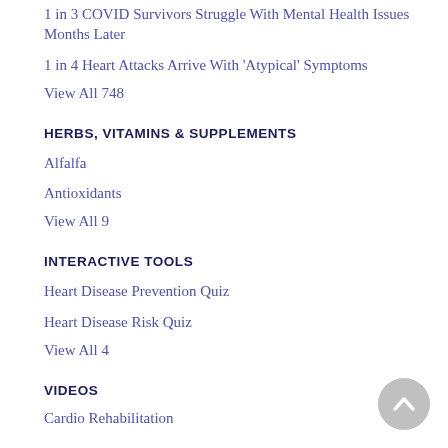1 in 3 COVID Survivors Struggle With Mental Health Issues Months Later
1 in 4 Heart Attacks Arrive With 'Atypical' Symptoms
View All 748
HERBS, VITAMINS & SUPPLEMENTS
Alfalfa
Antioxidants
View All 9
INTERACTIVE TOOLS
Heart Disease Prevention Quiz
Heart Disease Risk Quiz
View All 4
VIDEOS
Cardio Rehabilitation